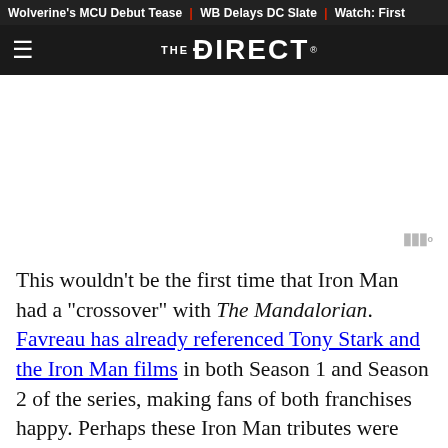Wolverine's MCU Debut Tease | WB Delays DC Slate | Watch: First
THE DIRECT
[Figure (other): Advertisement area with Moat watermark logo]
This wouldn't be the first time that Iron Man had a "crossover" with The Mandalorian. Favreau has already referenced Tony Stark and the Iron Man films in both Season 1 and Season 2 of the series, making fans of both franchises happy. Perhaps these Iron Man tributes were